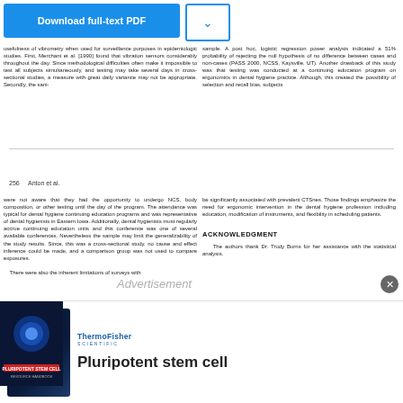[Figure (other): Download full-text PDF button and dropdown arrow button in blue]
usefulness of vibrometry when used for surveillance purposes in epidemiologic studies. First, Merchant et al. [1990] found that vibration sensors considerably throughout the day. Since methodological difficulties often make it impossible to test all subjects simultaneously, and testing may take several days in cross-sectional studies, a measure with great daily variance may not be appropriate. Secondly, the sani-
sample. A post hoc, logistic regression power analysis indicated a 51% probability of rejecting the null hypothesis of no difference between cases and non-cases (PASS 2000, NCSS, Kaysville, UT). Another drawback of this study was that testing was conducted at a continuing education program on ergonomics in dental hygiene practice. Although, this created the possibility of selection and recall bias, subjects
256    Anton et al.
were not aware that they had the opportunity to undergo NCS, body composition, or other testing until the day of the program. The attendance was typical for dental hygiene continuing education programs and was representative of dental hygienists in Eastern Iowa. Additionally, dental hygienists must regularly accrue continuing education units and this conference was one of several available conferences. Nevertheless the sample may limit the generalizability of the study results. Since, this was a cross-sectional study, no cause and effect inference could be made, and a comparison group was not used to compare exposures.
      There were also the inherent limitations of surveys with
be significantly associated with prevalent CTSnes. Those findings emphasize the need for ergonomic intervention in the dental hygiene profession including education, modification of instruments, and flexibility in scheduling patients.
ACKNOWLEDGMENT
The authors thank Dr. Trudy Burns for her assistance with the statistical analysis.
[Figure (other): Advertisement label overlay]
[Figure (other): Close button (X) circle]
[Figure (other): ThermoFisher Scientific advertisement banner with pluripotent stem cell resource handbook image and text 'Pluripotent stem cell']